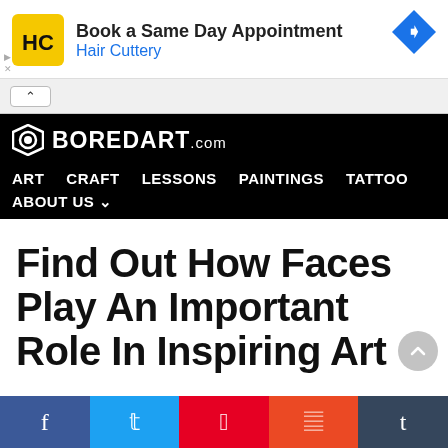[Figure (other): Hair Cuttery advertisement banner with yellow logo, text 'Book a Same Day Appointment Hair Cuttery', and blue diamond arrow icon on right]
BOREDART.com
ART
CRAFT
LESSONS
PAINTINGS
TATTOO
ABOUT US
Find Out How Faces Play An Important Role In Inspiring Art